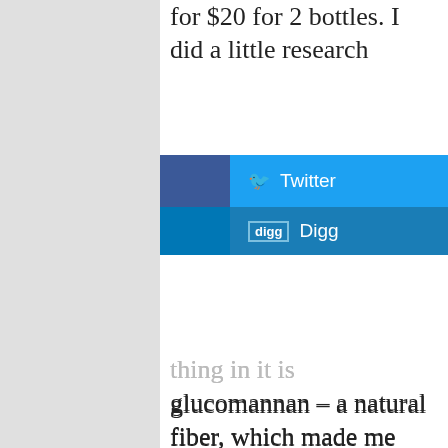for $20 for 2 bottles. I did a little research
[Figure (infographic): Social sharing buttons: Facebook, Twitter, LinkedIn, Digg]
and found out that the only active thing in it is glucomannan – a natural fiber, which made me feel better about trying yet another diet pill.
In order to show